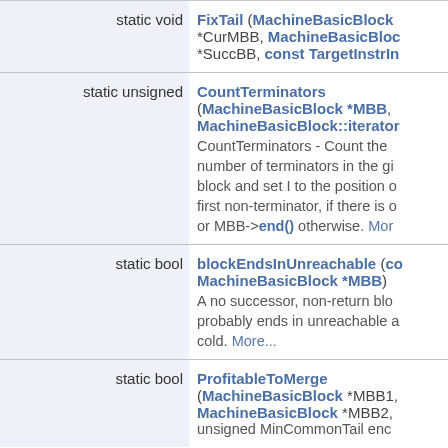| Type | Member |
| --- | --- |
| static void | FixTail (MachineBasicBlock *CurMBB, MachineBasicBlock *SuccBB, const TargetInstrIn… |
| static unsigned | CountTerminators (MachineBasicBlock *MBB, MachineBasicBlock::iterator…
CountTerminators - Count the number of terminators in the given block and set I to the position of the first non-terminator, if there is one, or MBB->end() otherwise. More… |
| static bool | blockEndsInUnreachable (co… MachineBasicBlock *MBB)
A no successor, non-return block probably ends in unreachable and cold. More... |
| static bool | ProfitableToMerge (MachineBasicBlock *MBB1, MachineBasicBlock *MBB2, unsigned MinCommonTail enc… |